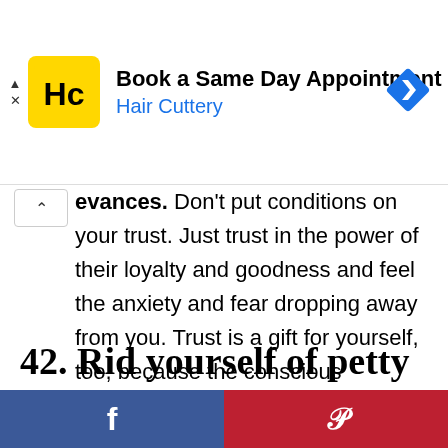[Figure (screenshot): Hair Cuttery advertisement banner with yellow HC logo, 'Book a Same Day Appointment' headline in black, 'Hair Cuttery' in blue, and a blue navigation diamond icon on the right.]
evances. Don't put conditions on your trust. Just trust in the power of their loyalty and goodness and feel the anxiety and fear dropping away from you. Trust is a gift for yourself, too, because the conscious decision to trust your partner frees you from the negative effect of suspicion.
42. Rid yourself of petty annoyances
[Figure (screenshot): Social sharing bar with Facebook (blue) and Pinterest (red) icons side by side at the bottom of the page.]